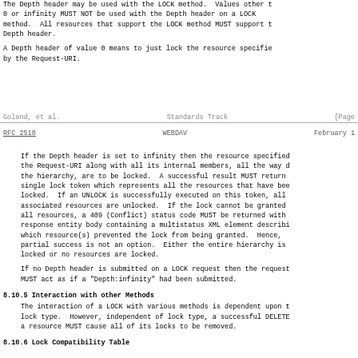The Depth header may be used with the LOCK method. Values other than 0 or infinity MUST NOT be used with the Depth header on a LOCK method. All resources that support the LOCK method MUST support the Depth header.

A Depth header of value 0 means to just lock the resource specified by the Request-URI.
Goland, et al.                  Standards Track                    [Page
RFC 2518                         WEBDAV                        February 1
If the Depth header is set to infinity then the resource specified by the Request-URI along with all its internal members, all the way down the hierarchy, are to be locked. A successful result MUST return a single lock token which represents all the resources that have been locked. If an UNLOCK is successfully executed on this token, all associated resources are unlocked. If the lock cannot be granted to all resources, a 409 (Conflict) status code MUST be returned with a response entity body containing a multistatus XML element describing which resource(s) prevented the lock from being granted. Hence, partial success is not an option. Either the entire hierarchy is locked or no resources are locked.

If no Depth header is submitted on a LOCK request then the request MUST act as if a "Depth:infinity" had been submitted.
8.10.5 Interaction with other Methods
The interaction of a LOCK with various methods is dependent upon the lock type. However, independent of lock type, a successful DELETE on a resource MUST cause all of its locks to be removed.
8.10.6 Lock Compatibility Table